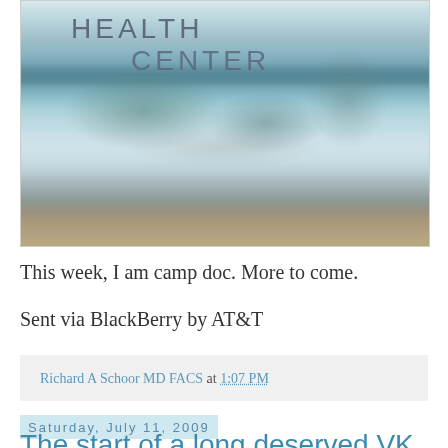[Figure (photo): Weathered painted sign reading HEALTH CENTER with peeling paint layers showing landscape-like texture in teal and blue tones]
This week, I am camp doc. More to come.
Sent via BlackBerry by AT&T
Richard A Schoor MD FACS at 1:07 PM
Saturday, July 11, 2009
The start of a long deserved VK